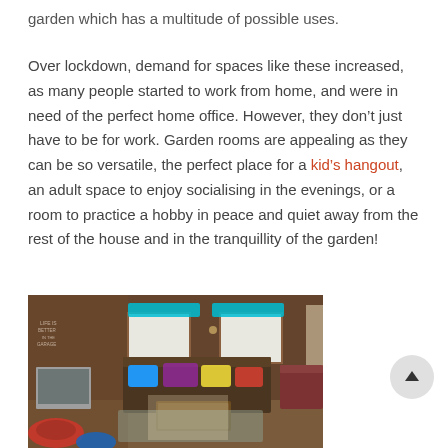garden which has a multitude of possible uses.
Over lockdown, demand for spaces like these increased, as many people started to work from home, and were in need of the perfect home office. However, they don't just have to be for work. Garden rooms are appealing as they can be so versatile, the perfect place for a kid's hangout, an adult space to enjoy socialising in the evenings, or a room to practice a hobby in peace and quiet away from the rest of the house and in the tranquillity of the garden!
[Figure (photo): Interior photo of a garden room styled as a kids hangout/lounge space, with pallet furniture, colorful cushions, a low pallet coffee table, a TV on a stand, brick walls, windows with teal/turquoise awnings, and tire seating. Text on wall reads 'LIFE IS BETTER IN THE GARAGE'.]